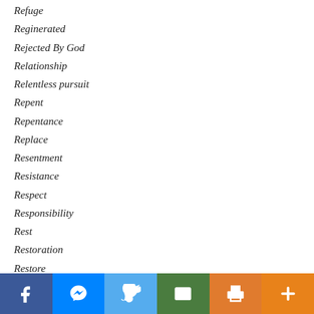Refuge
Reginerated
Rejected By God
Relationship
Relentless pursuit
Repent
Repentance
Replace
Resentment
Resistance
Respect
Responsibility
Rest
Restoration
Restore
Restored